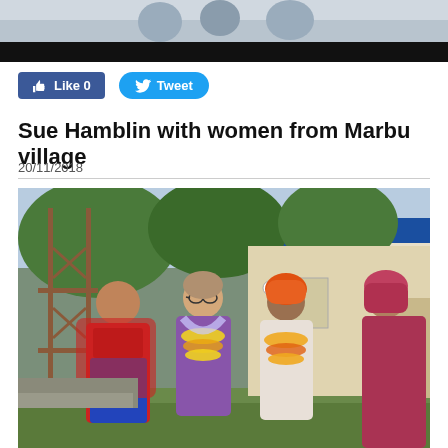[Figure (photo): Top partial photo showing people, cropped at top of page]
Like 0   Tweet
Sue Hamblin with women from Marbu village
20/11/2018
[Figure (photo): Sue Hamblin posing with women from Marbu village outside a building with blue roof. Four people standing together, two wearing flower garlands (marigold leis), one with an orange turban, one in red shawl, one in pink/red headscarf.]